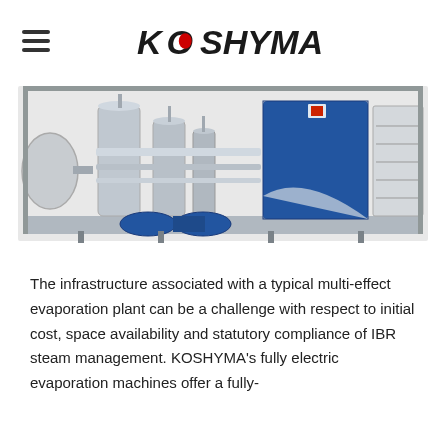KOSHYMA
[Figure (photo): Industrial multi-effect evaporation plant machinery on a frame, featuring cylindrical tanks, blue housing unit, pipes, pumps, and a rectangular frame structure.]
The infrastructure associated with a typical multi-effect evaporation plant can be a challenge with respect to initial cost, space availability and statutory compliance of IBR steam management. KOSHYMA's fully electric evaporation machines offer a fully-